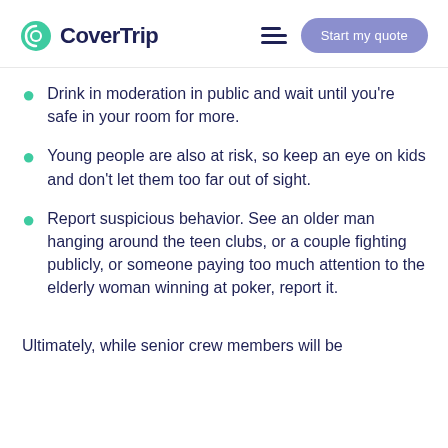CoverTrip
Drink in moderation in public and wait until you're safe in your room for more.
Young people are also at risk, so keep an eye on kids and don't let them too far out of sight.
Report suspicious behavior. See an older man hanging around the teen clubs, or a couple fighting publicly, or someone paying too much attention to the elderly woman winning at poker, report it.
Ultimately, while senior crew members will be